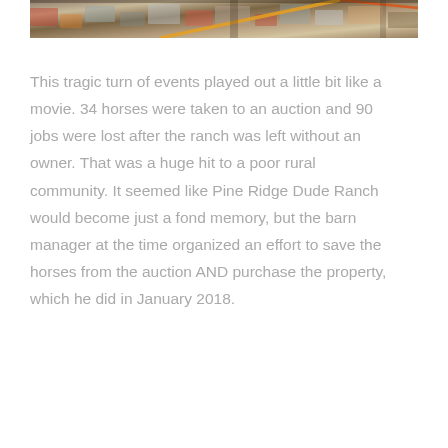[Figure (photo): Partial view of a barn or ranch interior floor with colorful tiles/mats visible, wooden structure elements and warm tones, cropped at top of page.]
This tragic turn of events played out a little bit like a movie. 34 horses were taken to an auction and 90 jobs were lost after the ranch was left without an owner. That was a huge hit to a poor rural community. It seemed like Pine Ridge Dude Ranch would become just a fond memory, but the barn manager at the time organized an effort to save the horses from the auction AND purchase the property, which he did in January 2018.